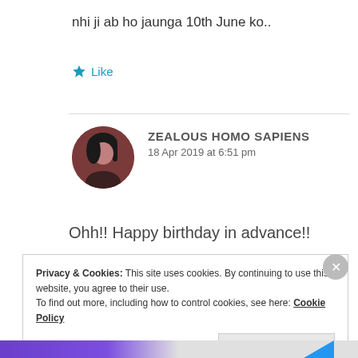nhi ji ab ho jaunga 10th June ko..
Like
ZEALOUS HOMO SAPIENS
18 Apr 2019 at 6:51 pm
Ohh!! Happy birthday in advance!!
Privacy & Cookies: This site uses cookies. By continuing to use this website, you agree to their use.
To find out more, including how to control cookies, see here: Cookie Policy
Close and accept